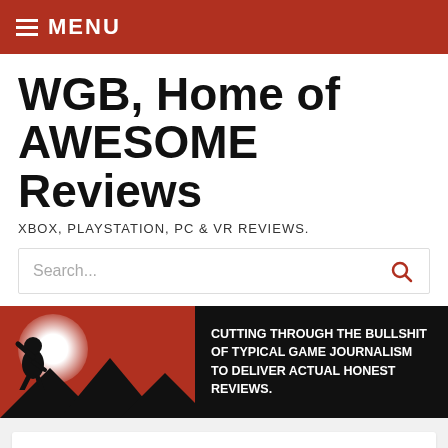MENU
WGB, Home of AWESOME Reviews
XBOX, PLAYSTATION, PC & VR REVIEWS.
[Figure (screenshot): Search bar with placeholder text 'Search...' and a red magnifying glass icon on the right]
[Figure (infographic): Banner image with dark background, bigfoot silhouette against a red mountain/moon scene on the left, and bold white text on the right reading: CUTTING THROUGH THE BULLSHIT OF TYPICAL GAME JOURNALISM TO DELIVER ACTUAL HONEST REVIEWS.]
Support The Site
[Figure (illustration): Red background banner image partially visible, with a white radial glow at the bottom center, cut off at bottom of page]